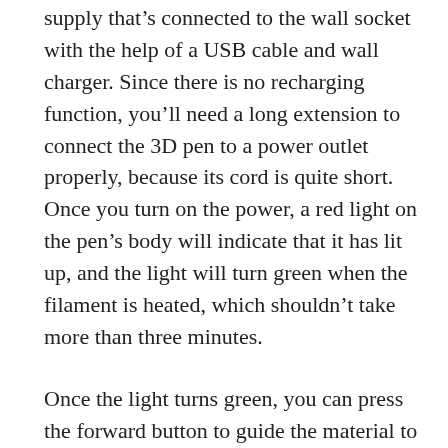supply that's connected to the wall socket with the help of a USB cable and wall charger. Since there is no recharging function, you'll need a long extension to connect the 3D pen to a power outlet properly, because its cord is quite short. Once you turn on the power, a red light on the pen's body will indicate that it has lit up, and the light will turn green when the filament is heated, which shouldn't take more than three minutes.
Once the light turns green, you can press the forward button to guide the material to the nozzle, and stop it once the material reaches the nozzle. From there on, you can press the forward button or hold it to draw your model